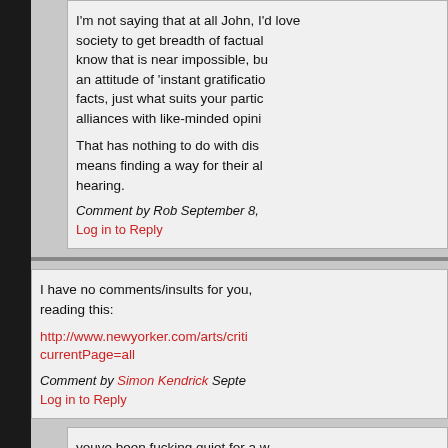I'm not saying that at all John, I'd love society to get breadth of factual … know that is near impossible, but an attitude of 'instant gratification facts, just what suits your partic… alliances with like-minded opini…
That has nothing to do with diss… means finding a way for their al… hearing.
Comment by Rob September 8,
Log in to Reply
I have no comments/insults for you, reading this:
http://www.newyorker.com/arts/criti… currentPage=all
Comment by Simon Kendrick Septe…
Log in to Reply
youve been fucking quiet for a w… you here, the brain jail? fucking…
Comment by andy@cynic Septe…
Log in to Reply
Thank you for your concern… these threads gets a little to… deal with it in short bursts (i…
Comment by Simon Kend…